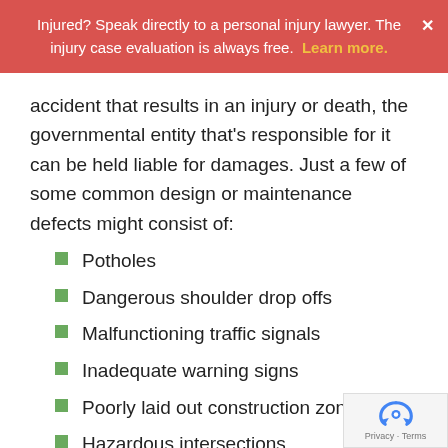Injured? Speak directly to a personal injury lawyer. The injury case evaluation is always free. Learn more.
accident that results in an injury or death, the governmental entity that's responsible for it can be held liable for damages. Just a few of some common design or maintenance defects might consist of:
Potholes
Dangerous shoulder drop offs
Malfunctioning traffic signals
Inadequate warning signs
Poorly laid out construction zones
Hazardous intersections